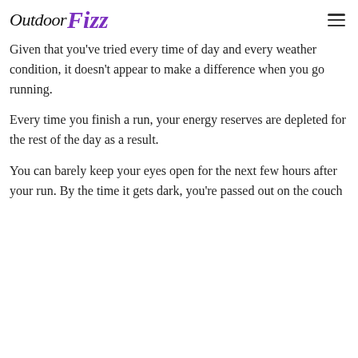OutdoorFizz
Given that you've tried every time of day and every weather condition, it doesn't appear to make a difference when you go running.
Every time you finish a run, your energy reserves are depleted for the rest of the day as a result.
You can barely keep your eyes open for the next few hours after your run. By the time it gets dark, you're passed out on the couch